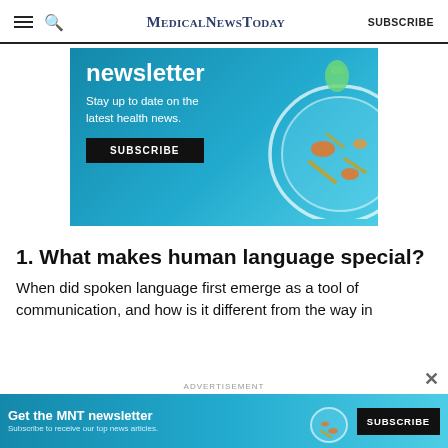MedicalNewsToday  SUBSCRIBE
[Figure (illustration): Medical News Today newsletter subscription banner with blue background, text 'newsletter', 'Stay up to date on the latest health news.', a SUBSCRIBE button, and a petri dish illustration on the right.]
1. What makes human language special?
When did spoken language first emerge as a tool of communication, and how is it different from the way in
[Figure (illustration): Bottom advertisement banner for MNT newsletter with blue background, text 'Get the MNT newsletter', 'Subscribe to receive our top news articles.', and a SUBSCRIBE button.]